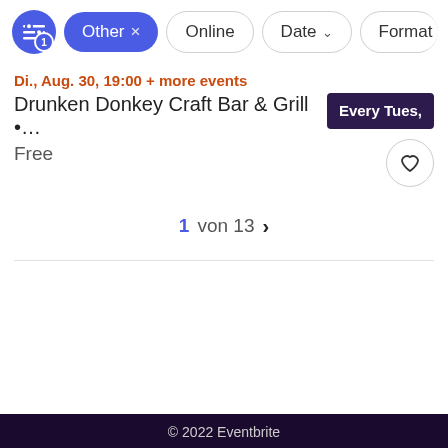Other × | Online | Date ▾ | Format
Di., Aug. 30, 19:00 + more events
Drunken Donkey Craft Bar & Grill •…
Free
Every Tues,
1 von 13 >
© 2022 Eventbrite